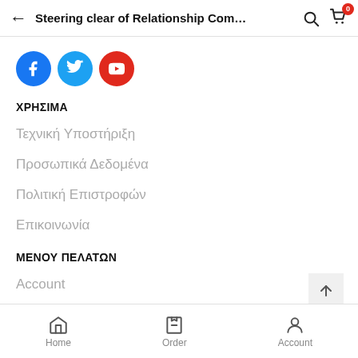Steering clear of Relationship Com…
[Figure (illustration): Social media icons: Facebook (blue circle), Twitter (light blue circle), YouTube (red circle)]
ΧΡΗΣΙΜΑ
Τεχνική Υποστήριξη
Προσωπικά Δεδομένα
Πολιτική Επιστροφών
Επικοινωνία
ΜΕΝΟΥ ΠΕΛΑΤΩΝ
Account
Wishlist
Home | Order | Account